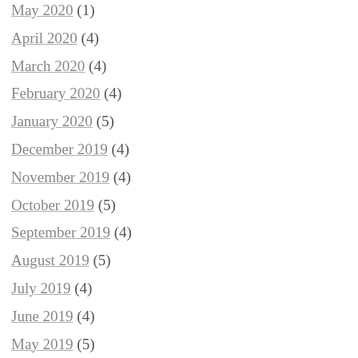May 2020 (1)
April 2020 (4)
March 2020 (4)
February 2020 (4)
January 2020 (5)
December 2019 (4)
November 2019 (4)
October 2019 (5)
September 2019 (4)
August 2019 (5)
July 2019 (4)
June 2019 (4)
May 2019 (5)
April 2019 (4)